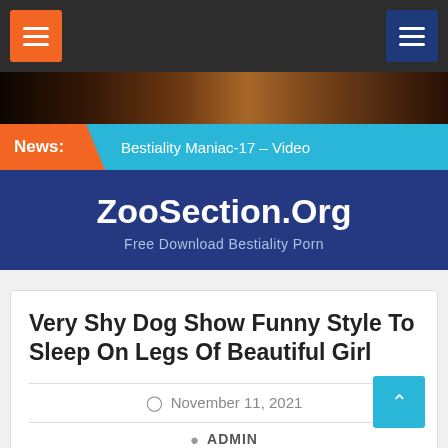[Figure (screenshot): Dark navigation bar with orange hamburger menu button on left and dark blue hamburger menu button on right]
[Figure (photo): Hero image strip showing animals in dark/shadowed setting]
News: Bestiality Maniac-17 – Video
ZooSection.Org
Free Download Bestiality Porn
Very Shy Dog Show Funny Style To Sleep On Legs Of Beautiful Girl
November 11, 2021
ADMIN